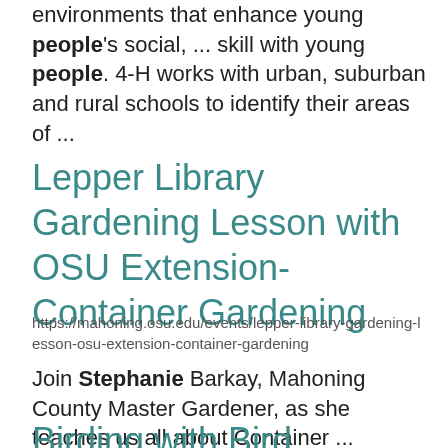environments that enhance young people's social, ... skill with young people. 4-H works with urban, suburban and rural schools to identify their areas of ...
Lepper Library Gardening Lesson with OSU Extension- Container Gardening
https://mahoning.osu.edu/events/lepper-library-gardening-lesson-osu-extension-container-gardening
Join Stephanie Barkay, Mahoning County Master Gardener, as she teaches us all about Container ...
Birding with Birders...